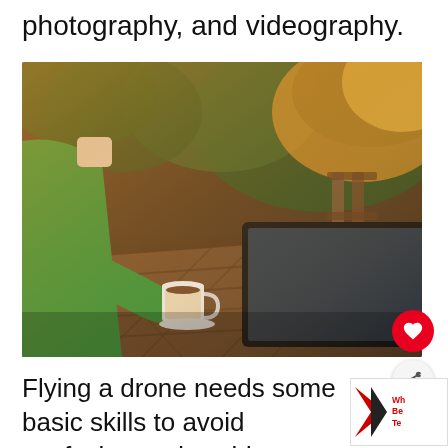photography, and videography.
[Figure (photo): Person wearing a green sweater sitting at an outdoor wooden table, using a tablet/laptop and with a coffee cup nearby. Warm orange sunlit background with trees.]
Flying a drone needs some basic skills to avoid confusion and accidents. Over the